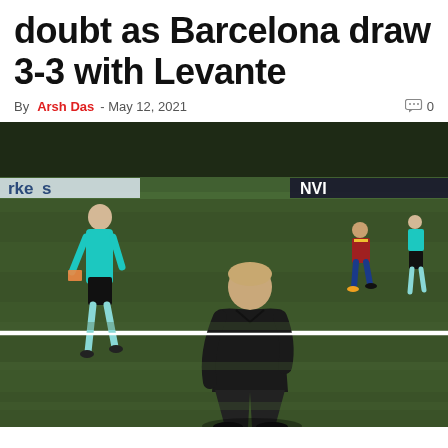doubt as Barcelona draw 3-3 with Levante
By Arsh Das - May 12, 2021  💬 0
[Figure (photo): A football manager in a black jacket and dark trousers walking on the touchline of a football pitch at night, looking downward. A referee in a cyan/turquoise kit is visible in the background, along with players on the pitch.]